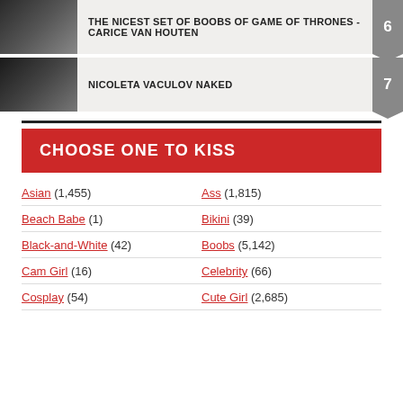THE NICEST SET OF BOOBS OF GAME OF THRONES - CARICE VAN HOUTEN
NICOLETA VACULOV NAKED
CHOOSE ONE TO KISS
Asian (1,455)
Ass (1,815)
Beach Babe (1)
Bikini (39)
Black-and-White (42)
Boobs (5,142)
Cam Girl (16)
Celebrity (66)
Cosplay (54)
Cute Girl (2,685)